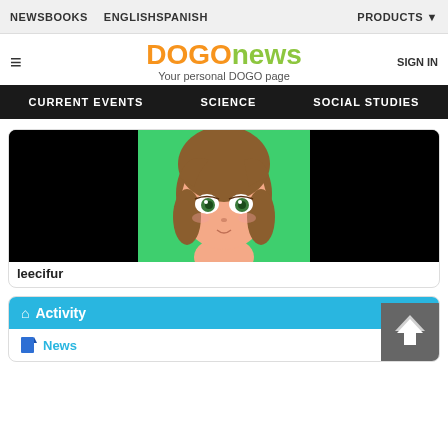NEWS   BOOKS   ENGLISH   SPANISH   PRODUCTS
DOGOnews - Your personal DOGO page
CURRENT EVENTS   SCIENCE   SOCIAL STUDIES
[Figure (illustration): Anime/manga style cartoon girl avatar with brown hair and green eyes on a green background, flanked by black areas. Username: leecifur]
leecifur
Activity
News